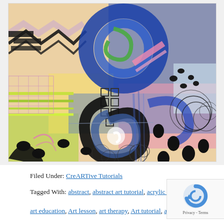[Figure (illustration): Abstract mixed-media painting featuring colorful swirling patterns, geometric shapes, black spiral forms, blue circular brushstrokes, pink and yellow areas, black scribble marks and oval dots on a layered collage background]
Filed Under: CreARTive Tutorials
Tagged With: abstract, abstract art tutorial, acrylic painting, art education, Art lesson, art therapy, Art tutorial, arts and